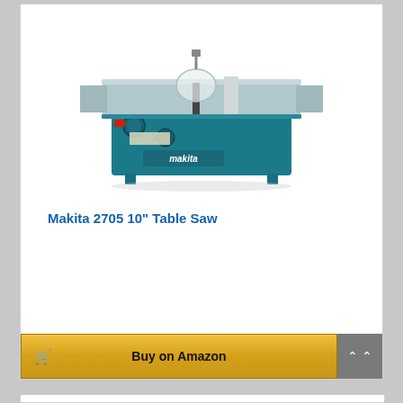[Figure (photo): Makita 2705 10-inch table saw in teal/blue color, showing the blade guard, rip fence, and Makita branding on the base. The saw has an aluminum table surface with extension wings.]
Makita 2705 10" Table Saw
Buy on Amazon